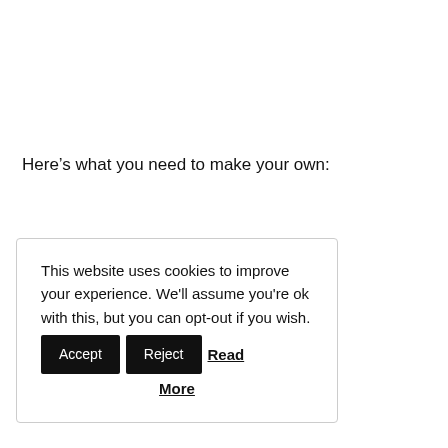Here’s what you need to make your own:
This website uses cookies to improve your experience. We'll assume you're ok with this, but you can opt-out if you wish. Accept Reject Read More